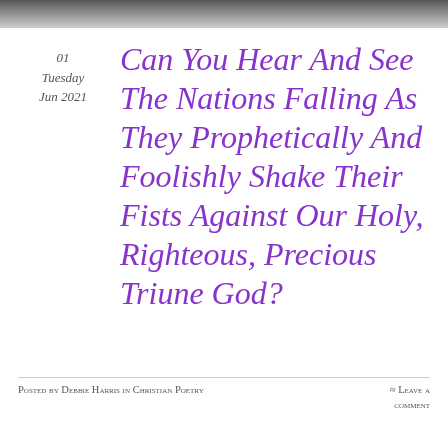[Figure (photo): Dark header image strip at top of page]
01
Tuesday
Jun 2021
Can You Hear And See The Nations Falling As They Prophetically And Foolishly Shake Their Fists Against Our Holy, Righteous, Precious Triune God?
Posted by Debbie Harris in Christian Poetry
≈ Leave a comment